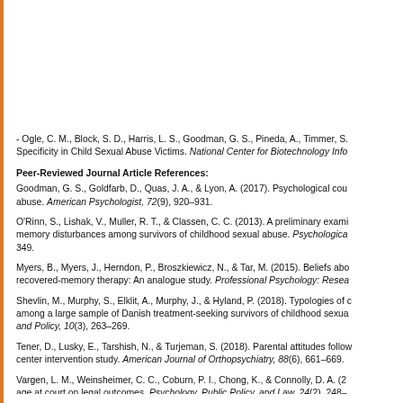- Ogle, C. M., Block, S. D., Harris, L. S., Goodman, G. S., Pineda, A., Timmer, S. Specificity in Child Sexual Abuse Victims. National Center for Biotechnology Info
Peer-Reviewed Journal Article References:
Goodman, G. S., Goldfarb, D., Quas, J. A., & Lyon, A. (2017). Psychological cou abuse. American Psychologist, 72(9), 920–931.
O'Rinn, S., Lishak, V., Muller, R. T., & Classen, C. C. (2013). A preliminary exami memory disturbances among survivors of childhood sexual abuse. Psychologica 349.
Myers, B., Myers, J., Herndon, P., Broszkiewicz, N., & Tar, M. (2015). Beliefs abo recovered-memory therapy: An analogue study. Professional Psychology: Resea
Shevlin, M., Murphy, S., Elklit, A., Murphy, J., & Hyland, P. (2018). Typologies of among a large sample of Danish treatment-seeking survivors of childhood sexua and Policy, 10(3), 263–269.
Tener, D., Lusky, E., Tarshish, N., & Turjeman, S. (2018). Parental attitudes follo center intervention study. American Journal of Orthopsychiatry, 88(6), 661–669.
Vargen, L. M., Weinsheimer, C. C., Coburn, P. I., Chong, K., & Connolly, D. A. (2 age at court on legal outcomes. Psychology, Public Policy, and Law, 24(2), 248–
QUESTION 7